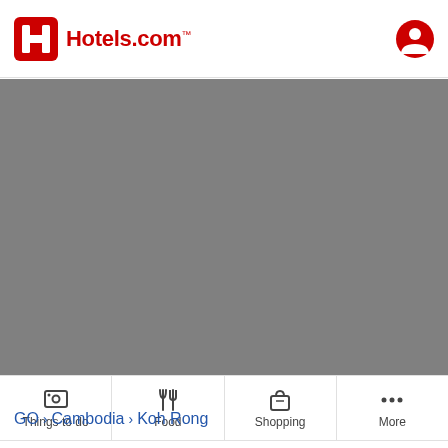Hotels.com
[Figure (map): Gray map placeholder showing a location area for Koh Rong, Cambodia]
Things to do | Food | Shopping | More
GO > Cambodia > Koh Rong